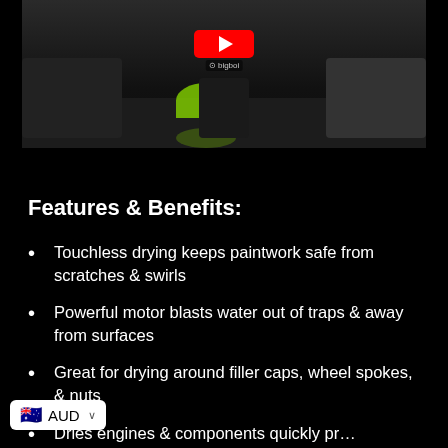[Figure (photo): Screenshot of a YouTube video showing a car drying device (BigBoi brand) with a green hose on a dark floor between vehicles, with a red YouTube play button visible at the top center.]
Features & Benefits:
Touchless drying keeps paintwork safe from scratches & swirls
Powerful motor blasts water out of traps & away from surfaces
Great for drying around filler caps, wheel spokes, & nuts
Dries engines & components quickly pr…